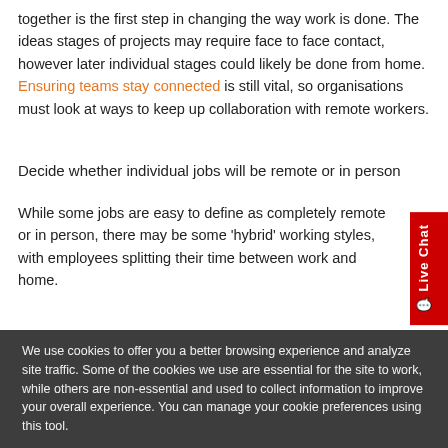together is the first step in changing the way work is done. The ideas stages of projects may require face to face contact, however later individual stages could likely be done from home. Ensuring teams stay connected is still vital, so organisations must look at ways to keep up collaboration with remote workers.
Decide whether individual jobs will be remote or in person
While some jobs are easy to define as completely remote or in person, there may be some 'hybrid' working styles, with employees splitting their time between work and home.
The rise of employees completely working from home will allow companies to recruit talent from a wider area due to less geographical limitations. Employees could live in the location of their choice and commute digitally with their employer, making remote working...
We use cookies to offer you a better browsing experience and analyze site traffic. Some of the cookies we use are essential for the site to work, while others are non-essential and used to collect information to improve your overall experience. You can manage your cookie preferences using this tool.
Cookie settings   Accept and close
Redesign the workplace